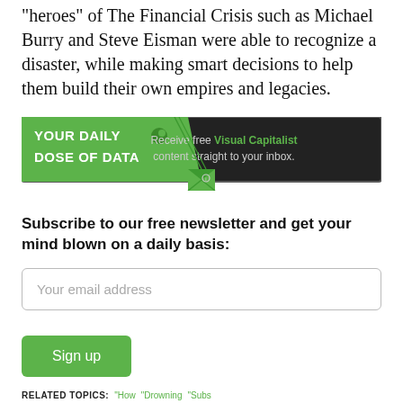“heroes” of The Financial Crisis such as Michael Burry and Steve Eisman were able to recognize a disaster, while making smart decisions to help them build their own empires and legacies.
[Figure (infographic): Banner ad for Visual Capitalist newsletter: green left panel with 'YOUR DAILY DOSE OF DATA' and an envelope icon, dark right panel with 'Receive free Visual Capitalist content straight to your inbox.']
Subscribe to our free newsletter and get your mind blown on a daily basis:
Your email address
Sign up
RELATED TOPICS: